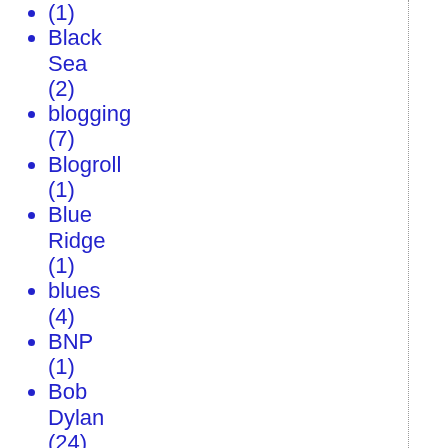(1)
Black Sea (2)
blogging (7)
Blogroll (1)
Blue Ridge (1)
blues (4)
BNP (1)
Bob Dylan (24)
bogeymen (1)
bond markets (2)
Bonobos (1)
book